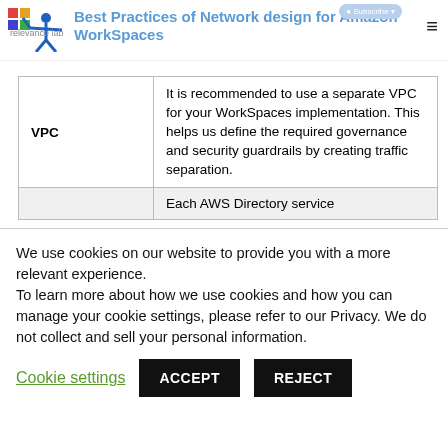Best Practices of Network design for Amazon WorkSpaces
| VPC | It is recommended to use a separate VPC for your WorkSpaces implementation. This helps us define the required governance and security guardrails by creating traffic separation. |
|  | Each AWS Directory service |
We use cookies on our website to provide you with a more relevant experience.
To learn more about how we use cookies and how you can manage your cookie settings, please refer to our Privacy.
We do not collect and sell your personal information.
Cookie settings   ACCEPT   REJECT